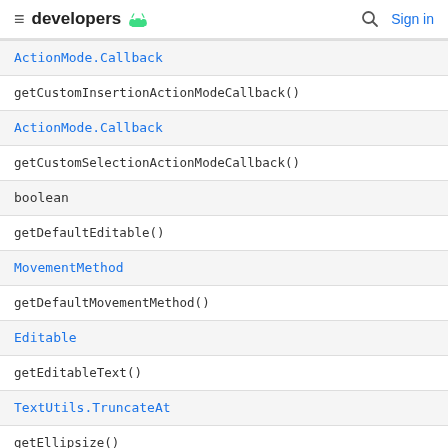developers [android logo] | [search] Sign in
| ActionMode.Callback |
| getCustomInsertionActionModeCallback() |
| ActionMode.Callback |
| getCustomSelectionActionModeCallback() |
| boolean |
| getDefaultEditable() |
| MovementMethod |
| getDefaultMovementMethod() |
| Editable |
| getEditableText() |
| TextUtils.TruncateAt |
| getEllipsize() |
| CharSequence |